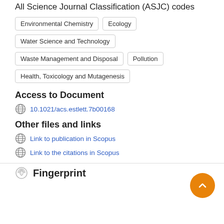All Science Journal Classification (ASJC) codes
Environmental Chemistry
Ecology
Water Science and Technology
Waste Management and Disposal
Pollution
Health, Toxicology and Mutagenesis
Access to Document
10.1021/acs.estlett.7b00168
Other files and links
Link to publication in Scopus
Link to the citations in Scopus
Fingerprint